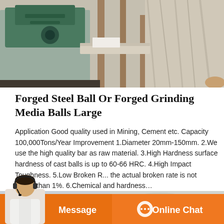[Figure (photo): Industrial facility photo showing a machine with green equipment and a wooden structure with material (possibly mineral or grinding media) visible on a conveyor or chute]
Forged Steel Ball Or Forged Grinding Media Balls Large
Application Good quality used in Mining, Cement etc. Capacity 100,000Tons/Year Improvement 1.Diameter 20mm-150mm. 2.We use the high quality bar as raw material. 3.High Hardness surface hardness of cast balls is up to 60-66 HRC. 4.High Impact Toughness. 5.Low Broken R... the actual broken rate is not higher than 1%. 6.Chemical and hardness…
[Figure (screenshot): Get Price orange button with chat bubble icon]
[Figure (photo): Bottom photo showing industrial or factory setting with a person and machinery]
[Figure (infographic): Bottom navigation bar with Message and Online Chat buttons on orange background, with a customer service representative photo on the left]